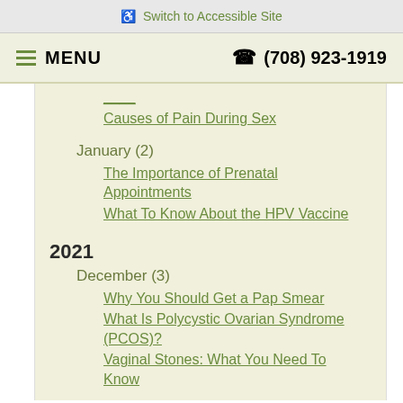♿ Switch to Accessible Site
≡ MENU   ☎ (708) 923-1919
Causes of Pain During Sex
January (2)
The Importance of Prenatal Appointments
What To Know About the HPV Vaccine
2021
December (3)
Why You Should Get a Pap Smear
What Is Polycystic Ovarian Syndrome (PCOS)?
Vaginal Stones: What You Need To Know